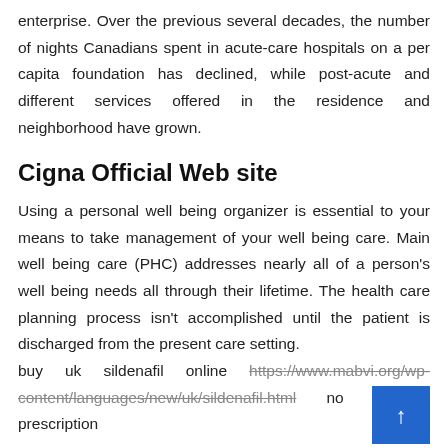enterprise. Over the previous several decades, the number of nights Canadians spent in acute-care hospitals on a per capita foundation has declined, while post-acute and different services offered in the residence and neighborhood have grown.
Cigna Official Web site
Using a personal well being organizer is essential to your means to take management of your well being care. Main well being care (PHC) addresses nearly all of a person's well being needs all through their lifetime. The health care planning process isn't accomplished until the patient is discharged from the present care setting.
buy uk sildenafil online https://www.mabvi.org/wp-content/languages/new/uk/sildenafil.html no prescription